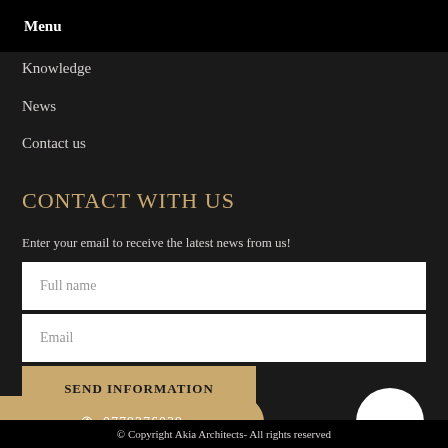Menu
Knowledge
News
Contact us
CONTACT WITH US
Enter your email to receive the latest news from us!
Full name
Email
SEND INFORMATION
📞 0779276039
© Copyright Akia Architects- All rights reserved